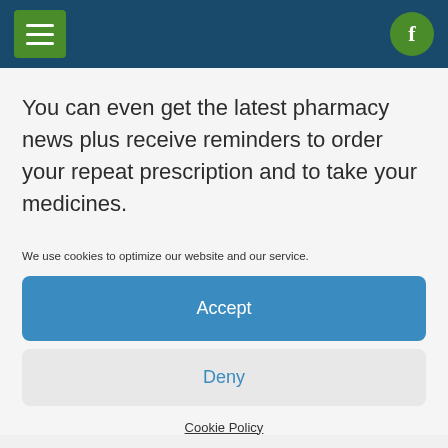[Figure (screenshot): Navigation bar with hamburger menu icon (green square, white lines) on the left and Facebook circle icon (green circle, white f) on the right, on a dark navy blue background]
You can even get the latest pharmacy news plus receive reminders to order your repeat prescription and to take your medicines.
We use cookies to optimize our website and our service.
Accept
Deny
Cookie Policy